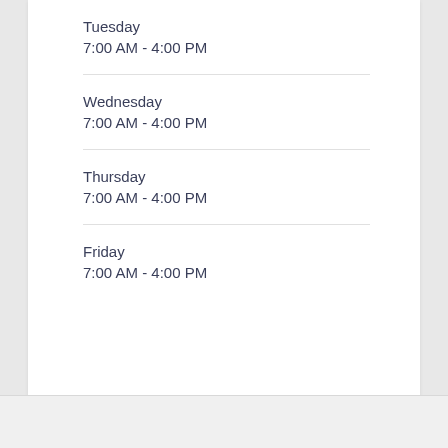Tuesday
7:00 AM - 4:00 PM
Wednesday
7:00 AM - 4:00 PM
Thursday
7:00 AM - 4:00 PM
Friday
7:00 AM - 4:00 PM